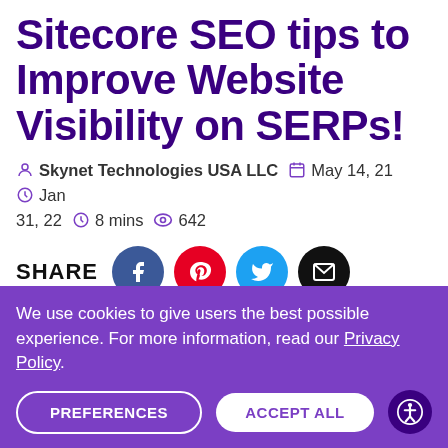Sitecore SEO tips to Improve Website Visibility on SERPs!
Skynet Technologies USA LLC   May 14, 21   Jan 31, 22   8 mins   642
[Figure (other): Social share buttons: SHARE label followed by Facebook (blue), Pinterest (red), Twitter (cyan), Email (black) circular icons]
We use cookies to give users the best possible experience. For more information, read our Privacy Policy.
PREFERENCES   ACCEPT ALL